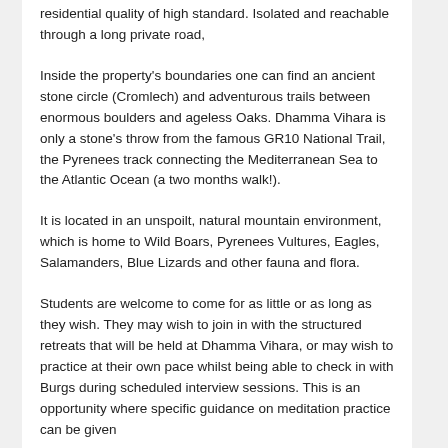residential quality of high standard. Isolated and reachable through a long private road,
Inside the property's boundaries one can find an ancient stone circle (Cromlech) and adventurous trails between enormous boulders and ageless Oaks. Dhamma Vihara is only a stone's throw from the famous GR10 National Trail, the Pyrenees track connecting the Mediterranean Sea to the Atlantic Ocean (a two months walk!).
It is located in an unspoilt, natural mountain environment, which is home to Wild Boars, Pyrenees Vultures, Eagles, Salamanders, Blue Lizards and other fauna and flora.
Students are welcome to come for as little or as long as they wish. They may wish to join in with the structured retreats that will be held at Dhamma Vihara, or may wish to practice at their own pace whilst being able to check in with Burgs during scheduled interview sessions. This is an opportunity where specific guidance on meditation practice can be given